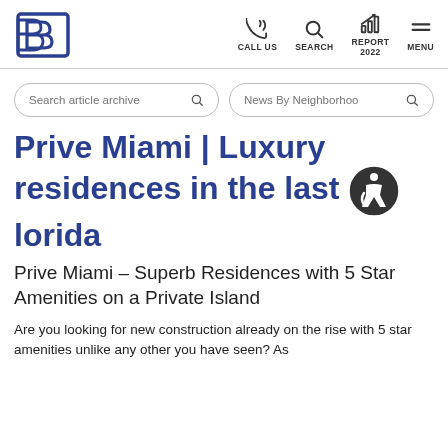CALL US | SEARCH | REPORT 2022 | MENU
Search article archive | News By Neighborhood
Prive Miami | Luxury residences in the last private island in South Florida
Prive Miami – Superb Residences with 5 Star Amenities on a Private Island
Are you looking for new construction already on the rise with 5 star amenities unlike any other you have seen? As